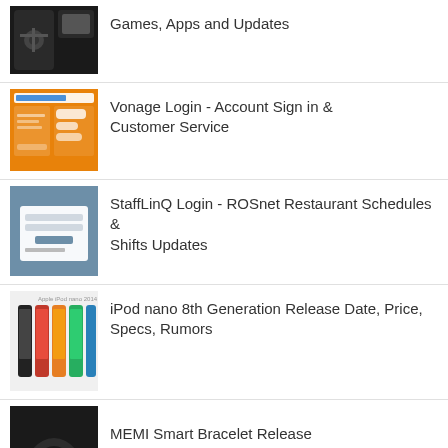Games, Apps and Updates
Vonage Login - Account Sign in & Customer Service
StaffLinQ Login - ROSnet Restaurant Schedules & Shifts Updates
iPod nano 8th Generation Release Date, Price, Specs, Rumors
MEMI Smart Bracelet Release Date and Price
How to Increase PTCL Evo Speed and Signal